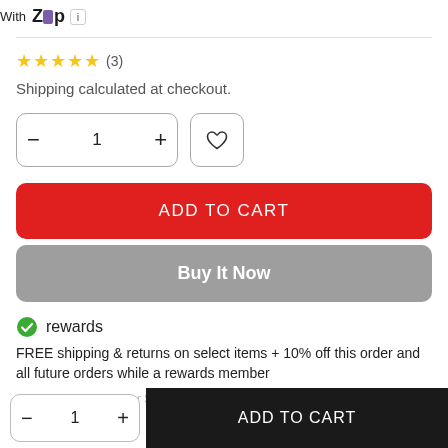Or 4 Interest-Free Payments On Orders Over $35 With Zip
★★★★★ (3)
Shipping calculated at checkout.
[Figure (other): Quantity selector with minus and plus buttons showing 1, and a heart/wishlist button]
ADD TO CART
Buy It Now
[Figure (other): Green checkmark rewards badge icon next to the word rewards]
FREE shipping & returns on select items + 10% off this order and all future orders while a rewards member
ADD TO CART (bottom bar)